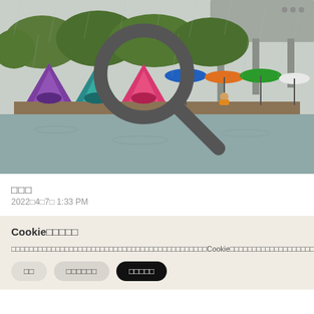[Figure (photo): People fishing along a waterway with colorful tents (purple, teal, pink) and umbrellas (blue, orange, green, white) lined up on a narrow dock beside still water, with trees and a bridge structure in the background on a rainy day.]
□□□
2022□4□7□ 1:33 PM
Cookie□□□□□
□□□□□□□□□□□□□□□□□□□□□□□□□□□□□□□□□□□□□□□□□□□□Cookie□□□□□□□□□□□□□□□□□□□□□□□□□□□□□□□□□□□□□Cookie□□□□□□□□□□□□□□□□□□□□□□□□□□□□□□Cookie□□□□□□□□□□□□□□□□□□□□□□□□□□□□□□□□□□□□□□□□□□□□□□□□□□□□□□□□□□□Cookie□□□□□□□□□□□□□□□□□□□□□□□□□□□□□□□□□□□□□□□□□□ >>□□
□□
□□□□□□
□□□□□